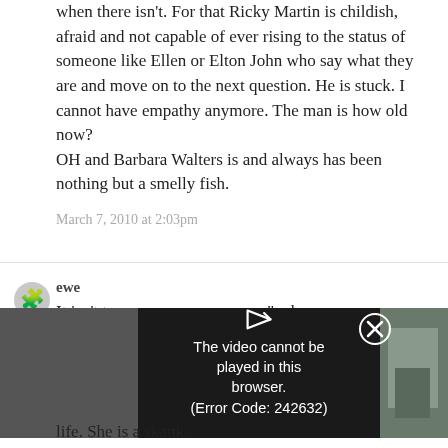when there isn't. For that Ricky Martin is childish, afraid and not capable of ever rising to the status of someone like Ellen or Elton John who say what they are and move on to the next question. He is stuck. I cannot have empathy anymore. The man is how old now?
OH and Barbara Walters is and always has been nothing but a smelly fish.
March 7, 2010 at 2:03pm
ewe
It isn't t... " when and if h... hats the big deal? I... d to be straigh... ife. Pathetic. Barbara... bout his sex life. She is a skank.
[Figure (screenshot): Video player overlay showing error message: The video cannot be played in this browser. (Error Code: 242632), with a play arrow icon and an X close button.]
March 7, 2010 at 2:03...